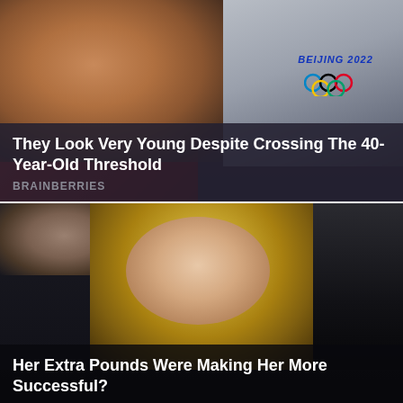[Figure (photo): Photo of an older Asian person wearing a red jacket and grey/white hat, with a Beijing 2022 Olympic Games sign visible in the background]
They Look Very Young Despite Crossing The 40-Year-Old Threshold
BRAINBERRIES
[Figure (photo): Photo of a blonde woman with heavy eye makeup wearing a black outfit, standing next to a man in black shirt with a beard]
Her Extra Pounds Were Making Her More Successful?